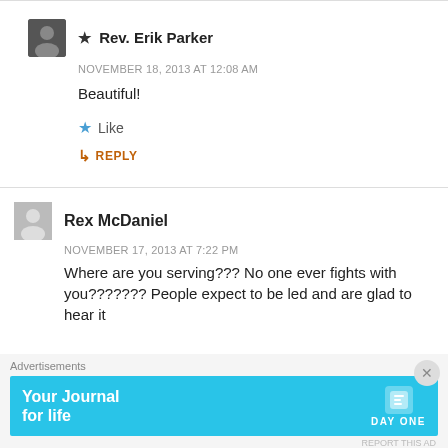★ Rev. Erik Parker
NOVEMBER 18, 2013 AT 12:08 AM
Beautiful!
★ Like
↳ REPLY
Rex McDaniel
NOVEMBER 17, 2013 AT 7:22 PM
Where are you serving??? No one ever fights with you??????? People expect to be led and are glad to hear it
Advertisements
[Figure (screenshot): Day One app advertisement banner: 'Your Journal for life' on cyan background with DAY ONE logo]